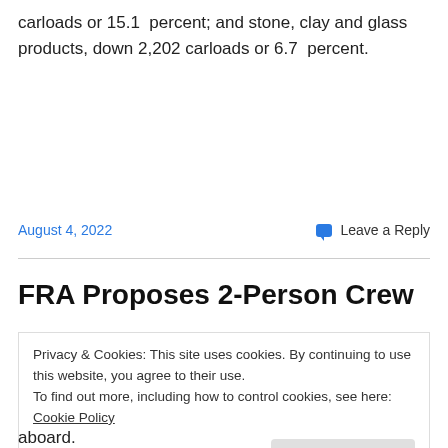carloads or 15.1 percent; and stone, clay and glass products, down 2,202 carloads or 6.7 percent.
August 4, 2022
Leave a Reply
FRA Proposes 2-Person Crew
Privacy & Cookies: This site uses cookies. By continuing to use this website, you agree to their use.
To find out more, including how to control cookies, see here: Cookie Policy
Close and accept
aboard.